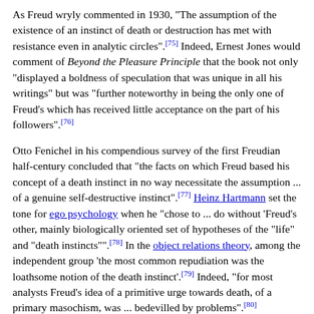As Freud wryly commented in 1930, "The assumption of the existence of an instinct of death or destruction has met with resistance even in analytic circles".[75] Indeed, Ernest Jones would comment of Beyond the Pleasure Principle that the book not only "displayed a boldness of speculation that was unique in all his writings" but was "further noteworthy in being the only one of Freud's which has received little acceptance on the part of his followers".[76]
Otto Fenichel in his compendious survey of the first Freudian half-century concluded that "the facts on which Freud based his concept of a death instinct in no way necessitate the assumption ... of a genuine self-destructive instinct".[77] Heinz Hartmann set the tone for ego psychology when he "chose to ... do without 'Freud's other, mainly biologically oriented set of hypotheses of the "life" and "death instincts"".[78] In the object relations theory, among the independent group 'the most common repudiation was the loathsome notion of the death instinct'.[79] Indeed, "for most analysts Freud's idea of a primitive urge towards death, of a primary masochism, was ... bedevilled by problems".[80]
Nevertheless, the concept has been defended, extended, and carried forward by some analysts, generally those tangential to the psychoanalytic mainstream; while among the more orthodox